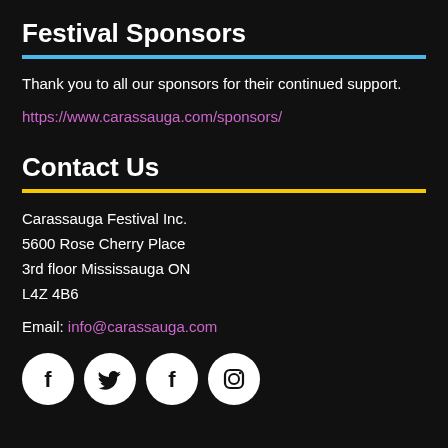Festival Sponsors
Thank you to all our sponsors for their continued support.
https://www.carassauga.com/sponsors/
Contact Us
Carassauga Festival Inc.
5600 Rose Cherry Place
3rd floor Mississauga ON
L4Z 4B6
Email: info@carassauga.com
[Figure (illustration): Four social media icons (Facebook, Twitter, Facebook, Instagram) as white circles on black background]